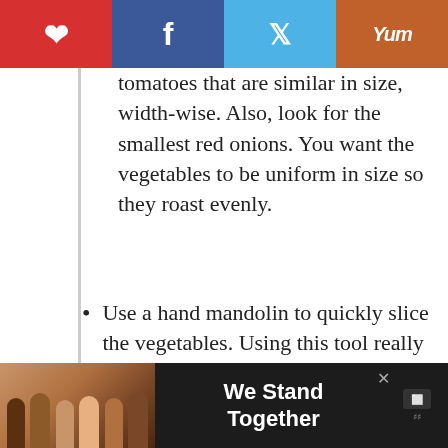Social share bar: Pinterest, Facebook, Twitter, Yummly
tomatoes that are similar in size, width-wise. Also, look for the smallest red onions. You want the vegetables to be uniform in size so they roast evenly.
Use a hand mandolin to quickly slice the vegetables. Using this tool really reduces your prep time!
You can use store-bought vegan pesto sauce if you don't want to make it from scratch. I often use the organic vegan pesto sauce from Sprout's, it's delish!
Store the leftover roasted vegetables…
[Figure (photo): Advertisement banner: group of people seen from behind with arms around each other, text reads 'We Stand Together']